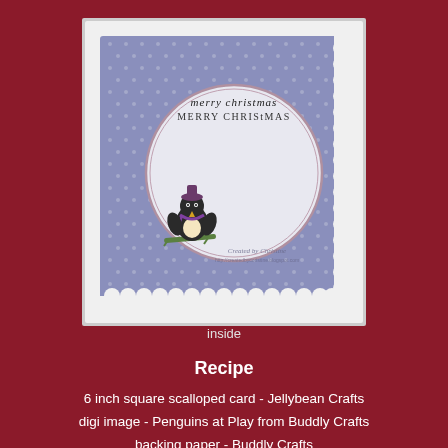[Figure (photo): Photo of a handmade Christmas card interior. The card has a white scalloped-edge base with a purple polka-dot backing paper. In the center is a large white oval/circle with a thin pink border. Text inside the circle reads 'MERRY CHRISTMAS'. A cartoon penguin on a green sled is positioned at the lower left of the circle. The bottom right of the circle has a watermark reading 'Created by Christine'.]
inside
Recipe
6 inch square scalloped card - Jellybean Crafts
digi image - Penguins at Play from Buddly Crafts
backing paper - Buddly Crafts
purple pearlised card - Jellybean Crafts
Petite scalloped circle die - Spellbinders